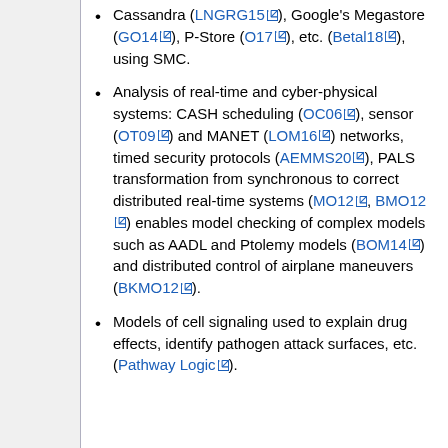Cassandra (LNGRG15), Google's Megastore (GO14), P-Store (O17), etc. (Betal18), using SMC.
Analysis of real-time and cyber-physical systems: CASH scheduling (OC06), sensor (OT09) and MANET (LOM16) networks, timed security protocols (AEMMS20), PALS transformation from synchronous to correct distributed real-time systems (MO12, BMO12) enables model checking of complex models such as AADL and Ptolemy models (BOM14) and distributed control of airplane maneuvers (BKMO12).
Models of cell signaling used to explain drug effects, identify pathogen attack surfaces, etc. (Pathway Logic).